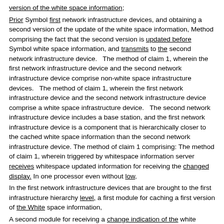version of the white space information; Prior Symbol first network infrastructure devices, and obtaining a second version of the update of the white space information, Method comprising the fact that the second version is updated before Symbol white space information, and transmits to the second network infrastructure device.   The method of claim 1, wherein the first network infrastructure device and the second network infrastructure device comprise non-white space infrastructure devices.   The method of claim 1, wherein the first network infrastructure device and the second network infrastructure device comprise a white space infrastructure device.   The second network infrastructure device includes a base station, and the first network infrastructure device is a component that is hierarchically closer to the cached white space information than the second network infrastructure device. The method of claim 1 comprising: The method of claim 1, wherein triggered by whitespace information server receives whitespace updated information for receiving the changed display. In one processor even without low,
In the first network infrastructure devices that are brought to the first infrastructure hierarchy level, a first module for caching a first version of the White space information,
A second module for receiving a change indication of the white space information: